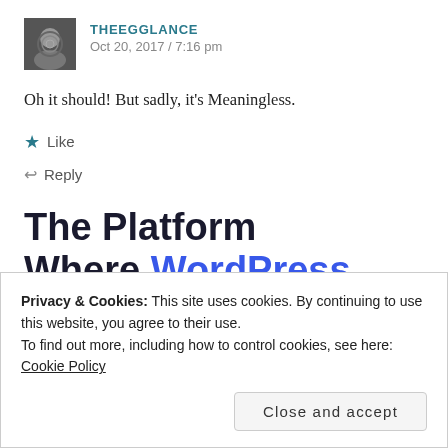THEEGGLANCE / Oct 20, 2017 / 7:16 pm
Oh it should! But sadly, it's Meaningless.
★ Like
↩ Reply
The Platform Where WordPress Works Best
Privacy & Cookies: This site uses cookies. By continuing to use this website, you agree to their use.
To find out more, including how to control cookies, see here: Cookie Policy
Close and accept